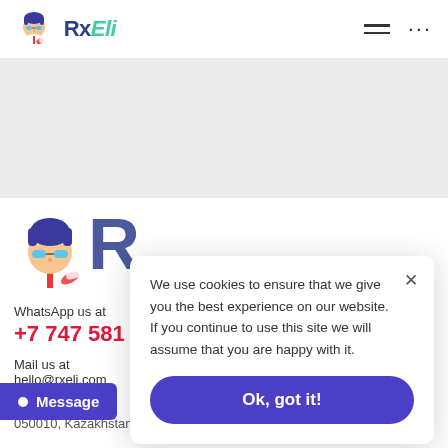[Figure (logo): RxEli logo with cartoon pharmacist avatar, text RxEli in dark blue and teal italic]
[Figure (other): Hamburger menu icon (two horizontal lines) and ellipsis (three dots) in page header]
[Figure (illustration): Cartoon pharmacist avatar with blue hair and glasses in footer]
R
WhatsApp us at
+7 747 581
Mail us at
hello@rxeli.com
We use cookies to ensure that we give you the best experience on our website. If you continue to use this site we will assume that you are happy with it.
Ok, got it!
Message
050010, Kazakhstan, Almaty,